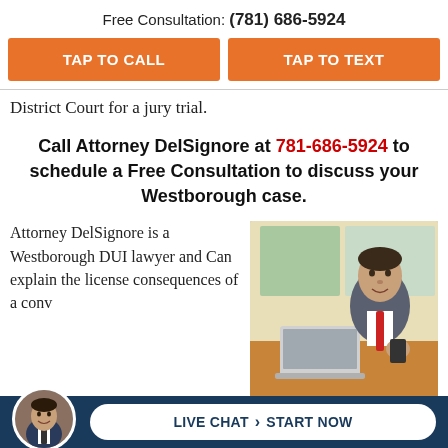Free Consultation: (781) 686-5924
TAP TO CALL
TAP TO TEXT
District Court for a jury trial.
Call Attorney DelSignore at 781-686-5924 to schedule a Free Consultation to discuss your Westborough case.
Attorney DelSignore is a Westborough DUI lawyer and Can explain the license consequences of a conv... th...
[Figure (photo): Attorney in suit sitting at a desk with a laptop in an office setting]
LIVE CHAT › START NOW